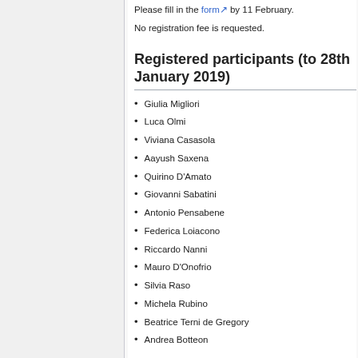Please fill in the form by 11 February.
No registration fee is requested.
Registered participants (to 28th January 2019)
Giulia Migliori
Luca Olmi
Viviana Casasola
Aayush Saxena
Quirino D'Amato
Giovanni Sabatini
Antonio Pensabene
Federica Loiacono
Riccardo Nanni
Mauro D'Onofrio
Silvia Raso
Michela Rubino
Beatrice Terni de Gregory
Andrea Botteon